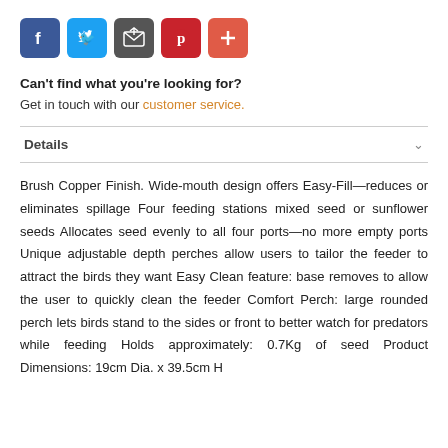[Figure (other): Row of five social media share icons: Facebook (blue), Twitter (light blue), Email/share (dark grey), Pinterest (red), and a plus/more button (orange-red).]
Can't find what you're looking for?
Get in touch with our customer service.
Details
Brush Copper Finish. Wide-mouth design offers Easy-Fill—reduces or eliminates spillage Four feeding stations mixed seed or sunflower seeds Allocates seed evenly to all four ports—no more empty ports Unique adjustable depth perches allow users to tailor the feeder to attract the birds they want Easy Clean feature: base removes to allow the user to quickly clean the feeder Comfort Perch: large rounded perch lets birds stand to the sides or front to better watch for predators while feeding Holds approximately: 0.7Kg of seed Product Dimensions: 19cm Dia. x 39.5cm H